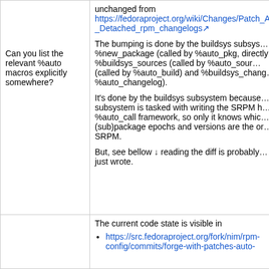unchanged from https://fedoraproject.org/wiki/Changes/Patch_Auto_macros_-_Detached_rpm_changelogs
Can you list the relevant %auto macros explicitly somewhere?
The bumping is done by the buildsys subsystem: %new_package (called by %auto_pkg, directly by %buildsys_sources (called by %auto_sources) (called by %auto_build) and %buildsys_changelog (called by %auto_changelog).
It's done by the buildsys subsystem because the subsystem is tasked with writing the SRPM header in the %auto_call framework, so only it knows which (sub)package epochs and versions are the ones in the SRPM.
But, see bellow ↓ reading the diff is probably easier than reading what I just wrote.
The current code state is visible in
https://src.fedoraproject.org/fork/nim/rpm-config/commits/forge-with-patches-auto-